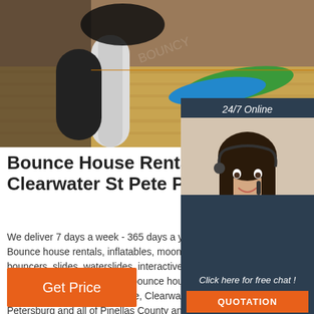[Figure (photo): Indoor photo showing inflatable bounce house equipment on a wooden floor, including blue and green inflatables and white cylindrical obstacles]
[Figure (photo): Chat widget overlay showing a woman with headset smiling, with '24/7 Online' header, 'Click here for free chat!' text, and an orange QUOTATION button]
Bounce House Rental Largo Clearwater St Pete Pinellas
We deliver 7 days a week - 365 days a year. Bounce provides Bounce house rentals, inflatables, moonwalks, bouncy houses, bouncers, slides, waterslides, interactive inflatables, dunk tanks, obstacles and toddler bounce houses for parties and events of all types. We service, Clearwater, Largo, St Petersburg and all of Pinellas County and the ...
[Figure (logo): TOP badge in orange with dot pattern above the letters]
Get Price